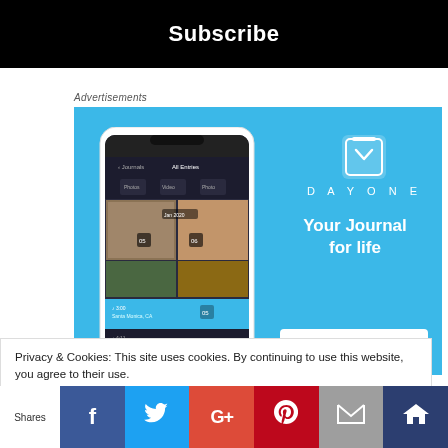×
Subscribe
Advertisements
[Figure (screenshot): DayOne app advertisement banner with blue background showing a phone mockup with journal entries and the text 'DAYONE - Your Journal for life' with a 'Get the app' button]
Privacy & Cookies: This site uses cookies. By continuing to use this website, you agree to their use.
To find out more, including how to control cookies, see here: Cookie Policy
Shares